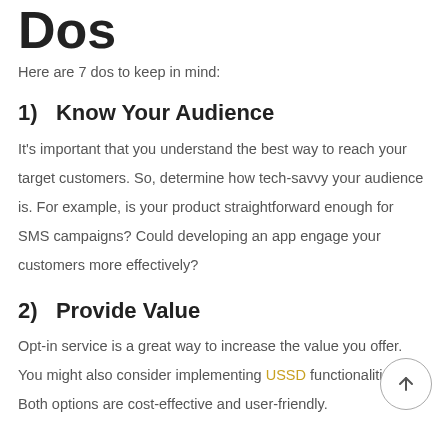Dos
Here are 7 dos to keep in mind:
1)   Know Your Audience
It's important that you understand the best way to reach your target customers. So, determine how tech-savvy your audience is. For example, is your product straightforward enough for SMS campaigns? Could developing an app engage your customers more effectively?
2)   Provide Value
Opt-in service is a great way to increase the value you offer. You might also consider implementing USSD functionalities. Both options are cost-effective and user-friendly.